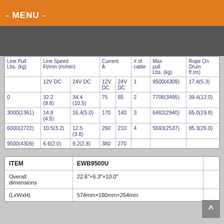- MENU -
| Line Pull Lbs. (kg) | Line Speed Ft/min (m/min) 12V DC | Line Speed Ft/min (m/min) 24V DC | Current A 12V DC | Current A 24V DC | # of cable | Max pull Lbs. (kg) | Rope On Drum ft (m) |
| --- | --- | --- | --- | --- | --- | --- | --- |
|  | 12V DC | 24V DC | 12V DC | 24V DC | 1 | 9500(4309) | 17.4(5.3) |
| 0 | 32.2(9.8) | 34.4(10.5) | 75 | 65 | 2 | 7706(3495) | 39.4(12.0) |
| 3000(1361) | 14.8(4.5) | 16.4(5.0) | 170 | 140 | 3 | 6482(2940) | 65.0(19.8) |
| 6000(2722) | 10.5(3.2) | 12.5(3.8) | 260 | 210 | 4 | 5593(2537) | 85.3(26.0) |
| 9500(4309) | 6.6(2.0) | 9.2(2.8) | 380 | 270 |  |  |  |
| ITEM | EWB9500U |  |
| --- | --- | --- |
| Overall dimensions (LxWxH) | 22.6″×6.3″×10.0″ |  |
| (LxWxH) | 574mm×160mm×254mm |  |